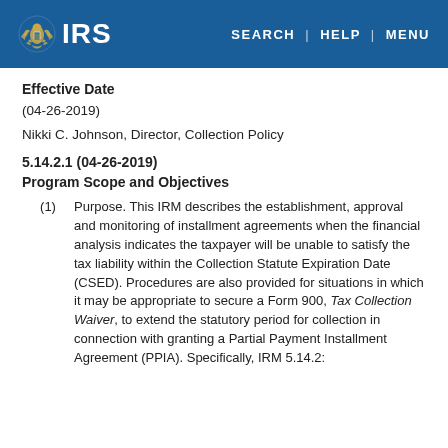IRS | SEARCH | HELP | MENU
Effective Date
(04-26-2019)
Nikki C. Johnson, Director, Collection Policy
5.14.2.1 (04-26-2019)
Program Scope and Objectives
(1) Purpose. This IRM describes the establishment, approval and monitoring of installment agreements when the financial analysis indicates the taxpayer will be unable to satisfy the tax liability within the Collection Statute Expiration Date (CSED). Procedures are also provided for situations in which it may be appropriate to secure a Form 900, Tax Collection Waiver, to extend the statutory period for collection in connection with granting a Partial Payment Installment Agreement (PPIA). Specifically, IRM 5.14.2: